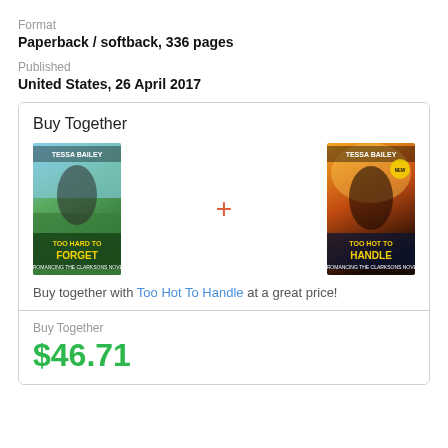Format
Paperback / softback, 336 pages
Published
United States, 26 April 2017
Buy Together
[Figure (photo): Book cover: Too Hard to Forget by Tessa Bailey]
[Figure (photo): Book cover: Too Hot to Handle by Tessa Bailey]
Buy together with Too Hot To Handle at a great price!
Buy Together
$46.71